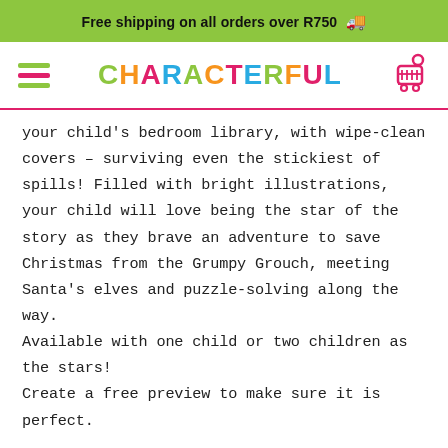Free shipping on all orders over R750 🚚
[Figure (logo): Characterful logo with multicolored letters and hamburger menu icon and shopping cart icon]
your child's bedroom library, with wipe-clean covers – surviving even the stickiest of spills! Filled with bright illustrations, your child will love being the star of the story as they brave an adventure to save Christmas from the Grumpy Grouch, meeting Santa's elves and puzzle-solving along the way.
Available with one child or two children as the stars!
Create a free preview to make sure it is perfect.